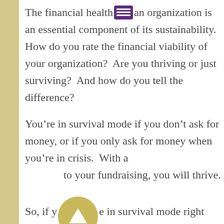The financial health of an organization is an essential component of its sustainability.  How do you rate the financial viability of your organization?  Are you thriving or just surviving?  And how do you tell the difference?
You're in survival mode if you don't ask for money, or if you only ask for money when you're in crisis.  With a [menu icon] to your fundraising, you will thrive.
So, if you are in survival mode right now, how do you get started on the road to financial viability?